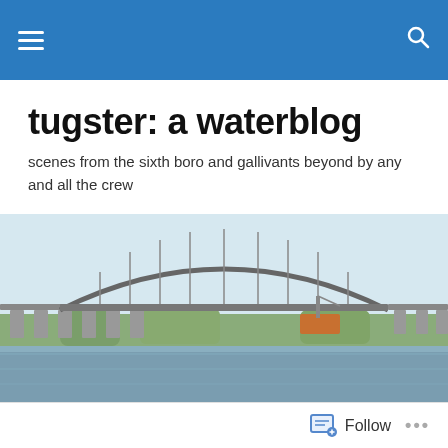tugster: a waterblog — navigation bar
tugster: a waterblog
scenes from the sixth boro and gallivants beyond by any and all the crew
[Figure (photo): Wide panoramic photograph of a large steel arch bridge over a body of water, with construction equipment visible and green trees in the background under a hazy blue sky.]
DAILY ARCHIVES: SEPTEMBER 14, 2016
Océan Blue 2